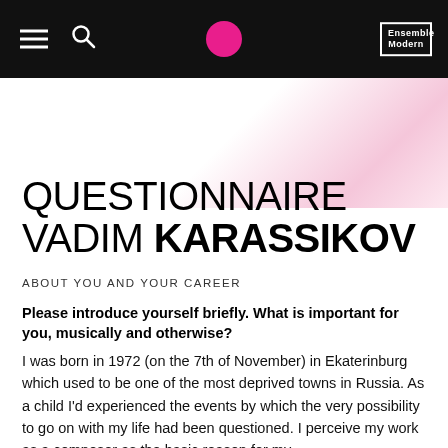Ensemble Modern — navigation bar with hamburger menu, search icon, pink dot logo, and Ensemble Modern logo
QUESTIONNAIRE VADIM KARASSIKOV
ABOUT YOU AND YOUR CAREER
Please introduce yourself briefly. What is important for you, musically and otherwise? I was born in 1972 (on the 7th of November) in Ekaterinburg which used to be one of the most deprived towns in Russia. As a child I'd experienced the events by which the very possibility to go on with my life had been questioned. I perceive my work as a composer as the basic reason for my